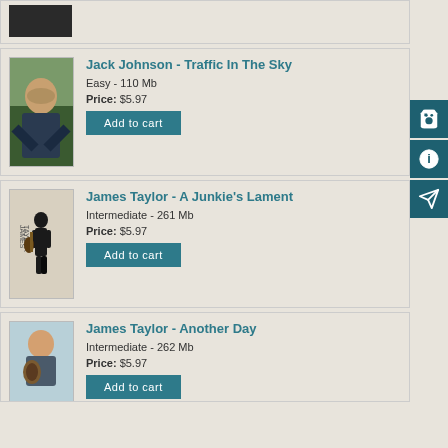[Figure (photo): Partial album/product image visible at top of page]
Jack Johnson - Traffic In The Sky
Easy - 110 Mb
Price: $5.97
[Figure (photo): Jack Johnson photo - man sitting outdoors with guitar]
James Taylor - A Junkie's Lament
Intermediate - 261 Mb
Price: $5.97
[Figure (photo): Album cover showing man walking away with guitar on back]
James Taylor - Another Day
Intermediate - 262 Mb
Price: $5.97